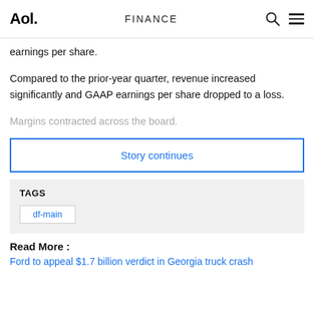Aol. | FINANCE
earnings per share.
Compared to the prior-year quarter, revenue increased significantly and GAAP earnings per share dropped to a loss.
Margins contracted across the board.
Story continues
TAGS
df-main
Read More :
Ford to appeal $1.7 billion verdict in Georgia truck crash